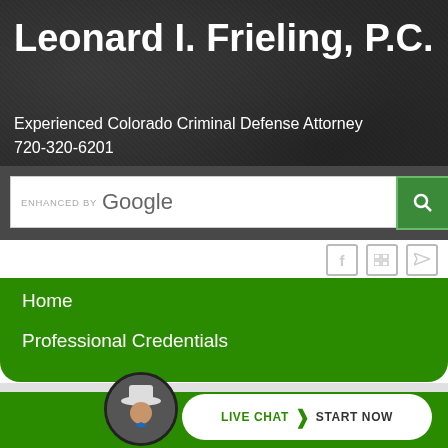Leonard I. Frieling, P.C.
Experienced Colorado Criminal Defense Attorney
720-320-6201
[Figure (screenshot): Google enhanced search bar with magnifying glass icon button on right]
[Figure (infographic): Social media icons: Facebook (f), Flickr (squares), RSS feed]
Home
Professional Credentials
Recent Articles
How Many Plants Can I Grow in Colorado
[Figure (photo): Circular avatar photo of a man in a hat and bow tie]
LIVE CHAT  START NOW